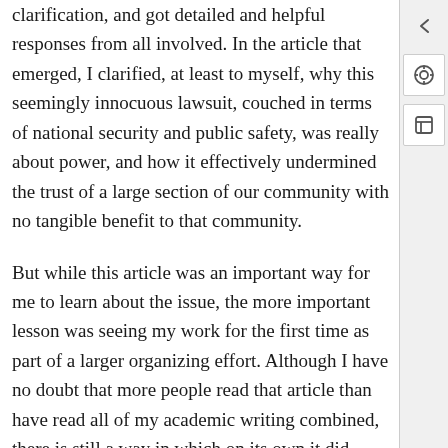clarification, and got detailed and helpful responses from all involved. In the article that emerged, I clarified, at least to myself, why this seemingly innocuous lawsuit, couched in terms of national security and public safety, was really about power, and how it effectively undermined the trust of a large section of our community with no tangible benefit to that community.
But while this article was an important way for me to learn about the issue, the more important lesson was seeing my work for the first time as part of a larger organizing effort. Although I have no doubt that more people read that article than have read all of my academic writing combined, there is still a way in which on its own it did little, apart from the more concerted organizing effort that followed. In organizing around the IDNYC lawsuit, we also initiated a petition drive as